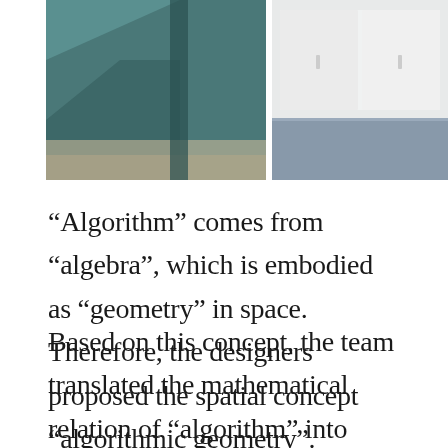[Figure (photo): Two architectural interior photographs side by side: left image shows a teal/green-toned corridor or hallway with geometric lines and a wooden floor; right image shows a minimalist white interior space with grey floor and clean geometric lines.]
“Algorithm” comes from “algebra”, which is embodied as “geometry” in space. Therefore, the designers proposed the spatial concept “algorithmic geometry”.
Based on this concept, the team translated the mathematical relation of “algorithm” into spatial geometric relation, and extracted four spatial prototypes that fit the client’s corporate culture, integrating the functional layout and